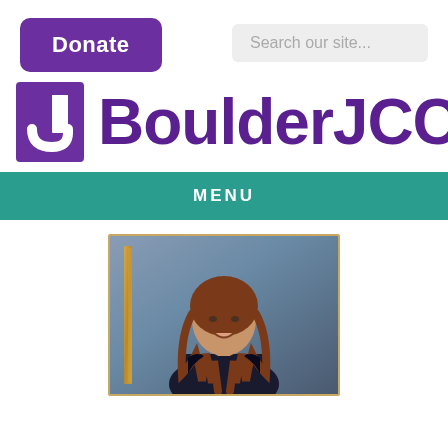[Figure (other): Donate button - purple rounded rectangle with white bold text 'Donate']
[Figure (other): Search box with placeholder text 'Search our site...']
[Figure (logo): BoulderJCC logo: purple J block icon followed by 'BoulderJCC' in bold purple text]
[Figure (other): Teal navigation menu bar with 'MENU' text in white bold letters]
[Figure (photo): Professional headshot photo of a smiling woman with long auburn/brown hair, wearing a dark top, gold-framed picture visible in background]